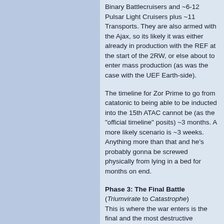Binary Battlecruisers and ~6-12 Pulsar Light Cruisers plus ~11 Transports. They are also armed with the Ajax, so its likely it was either already in production with the REF at the start of the 2RW, or else about to enter mass production (as was the case with the UEF Earth-side).
The timeline for Zor Prime to go from catatonic to being able to be inducted into the 15th ATAC cannot be (as the "official timeline" posits) ~3 months. A more likely scenario is ~3 weeks. Anything more than that and he's probably gonna be screwed physically from lying in a bed for months on end.
Phase 3: The Final Battle
(Triumvirate to Catastrophe) This is where the war enters is the final and the most destructive